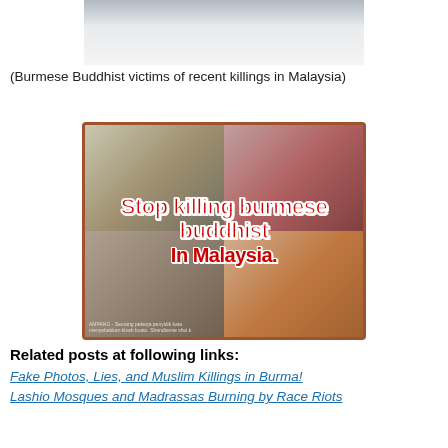[Figure (photo): Top portion of a photograph showing a person in white clothing, partially visible]
(Burmese Buddhist victims of recent killings in Malaysia)
[Figure (photo): A collage of four photographs showing injured or deceased individuals, with red bold text overlay reading 'Stop killing burmese buddhist In Malaysia.' The collage has a brown/red border.]
Related posts at following links:
Fake Photos, Lies, and Muslim Killings in Burma!
Lashio Mosques and Madrassas Burning by Race Riots